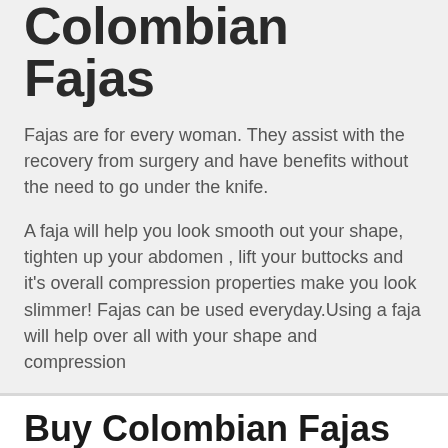Colombian Fajas
Fajas are for every woman. They assist with the recovery from surgery and have benefits without the need to go under the knife.
A faja will help you look smooth out your shape, tighten up your abdomen , lift your buttocks and it's overall compression properties make you look slimmer! Fajas can be used everyday.Using a faja will help over all with your shape and compression
Buy Colombian Fajas Queens, New York
The original use for these surgical compression garments is to recuperate from liposuction, Brazilian butt lifts (bbl)